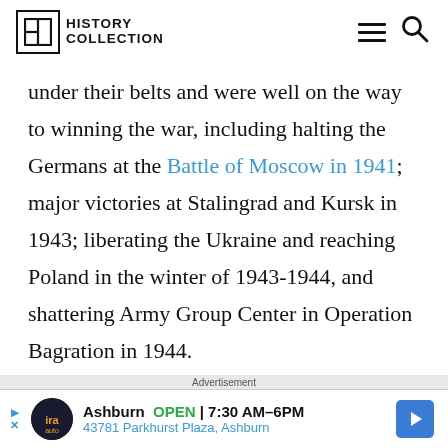HISTORY COLLECTION
under their belts and were well on the way to winning the war, including halting the Germans at the Battle of Moscow in 1941; major victories at Stalingrad and Kursk in 1943; liberating the Ukraine and reaching Poland in the winter of 1943-1944, and shattering Army Group Center in Operation Bagration in 1944.
It all...
Advertisement
Ashburn OPEN | 7:30AM–6PM
43781 Parkhurst Plaza, Ashburn